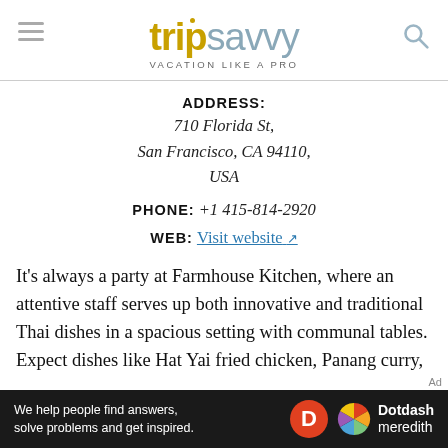tripsavvy VACATION LIKE A PRO
ADDRESS: 710 Florida St, San Francisco, CA 94110, USA
PHONE: +1 415-814-2920
WEB: Visit website
It's always a party at Farmhouse Kitchen, where an attentive staff serves up both innovative and traditional Thai dishes in a spacious setting with communal tables. Expect dishes like Hat Yai fried chicken, Panang curry, and Pad Thai...
[Figure (other): Dotdash Meredith advertisement banner: 'We help people find answers, solve problems and get inspired.' with Dotdash Meredith logo]